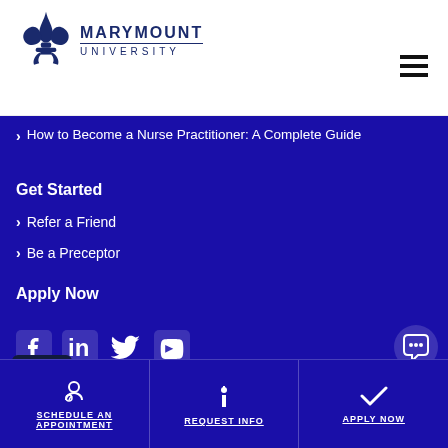[Figure (logo): Marymount University logo with fleur-de-lis icon and text MARYMOUNT UNIVERSITY]
[Figure (other): Hamburger menu icon (three horizontal lines)]
How to Become a Nurse Practitioner: A Complete Guide
Get Started
Refer a Friend
Be a Preceptor
Apply Now
[Figure (other): Social media icons: Facebook, LinkedIn, Twitter, YouTube]
[Figure (other): Chat icon on right side]
[Figure (other): Scroll to top button with up arrow]
SCHEDULE AN APPOINTMENT | REQUEST INFO | APPLY NOW